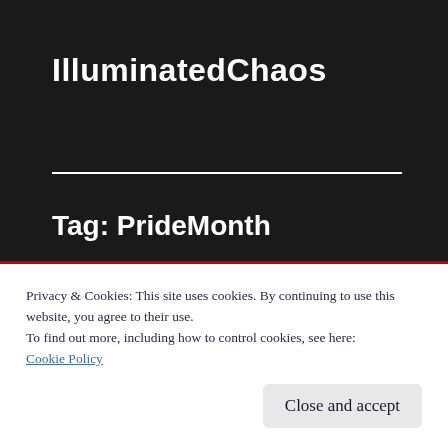IlluminatedChaos
Tag: PrideMonth
Pride Month: An Update
Privacy & Cookies: This site uses cookies. By continuing to use this website, you agree to their use.
To find out more, including how to control cookies, see here:
Cookie Policy
Close and accept